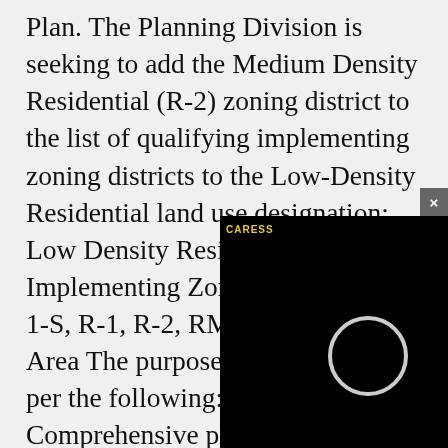Plan. The Planning Division is seeking to add the Medium Density Residential (R-2) zoning district to the list of qualifying implementing zoning districts to the Low-Density Residential land use designation: Low Density Residential Implementing Zoning Districts R-1-S, R-1, R-2, RM, SC3, Per Focus Area The purpose for the request is per the following: The 2020 Comprehensive plan sought to diversify the housing options within Post Falls to continuation the p housing options be or multi-family ho mixture of Duplex
[Figure (screenshot): A dark video overlay partially covering the bottom-right of the page, showing a black screen with a small circular loading indicator and a 'CARESS' label in yellow text. A close button (×) appears in the top-right corner of the overlay.]